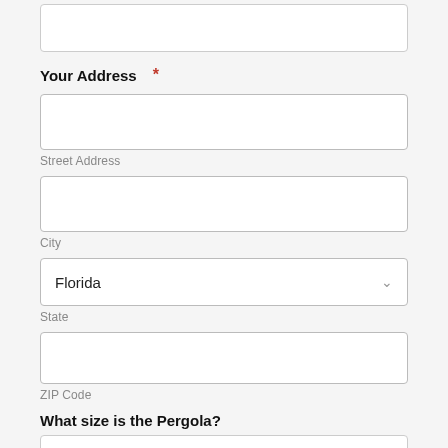Your Address *
Street Address
City
Florida
State
ZIP Code
What size is the Pergola?